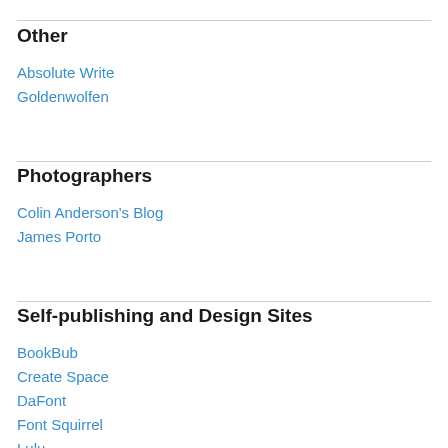Other
Absolute Write
Goldenwolfen
Photographers
Colin Anderson's Blog
James Porto
Self-publishing and Design Sites
BookBub
Create Space
DaFont
Font Squirrel
Lulu